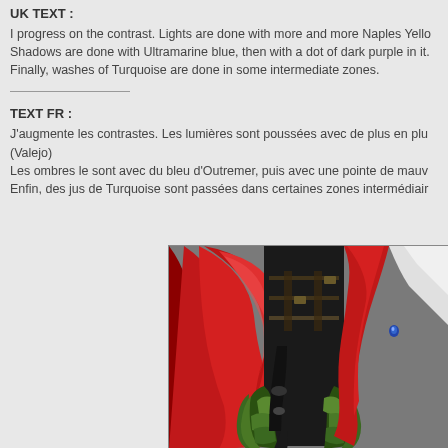UK TEXT :
I progress on the contrast. Lights are done with more and more Naples Yello Shadows are done with Ultramarine blue, then with a dot of dark purple in it. Finally, washes of Turquoise are done in some intermediate zones.
TEXT FR :
J'augmente les contrastes. Les lumières sont poussées avec de plus en plu (Valejo)
Les ombres le sont avec du bleu d'Outremer, puis avec une pointe de mauv Enfin, des jus de Turquoise sont passées dans certaines zones intermédiair
[Figure (photo): A painted miniature figure showing a character with a red cape/cloak, green armored legs, black body armor with straps and buckles, and a white element visible at the top right. The miniature appears to be a fantasy or sci-fi wargaming figure.]